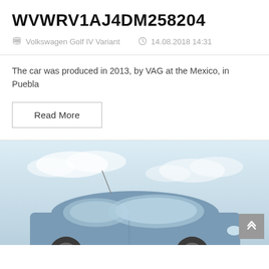WVWRV1AJ4DM258204
Volkswagen Golf IV Variant   14.08.2018 14:31
The car was produced in 2013, by VAG at the Mexico, in Puebla
Read More
[Figure (photo): Partial view of a Volkswagen Golf sedan in blue/grey color photographed from the front-left angle against a light cloudy sky background]